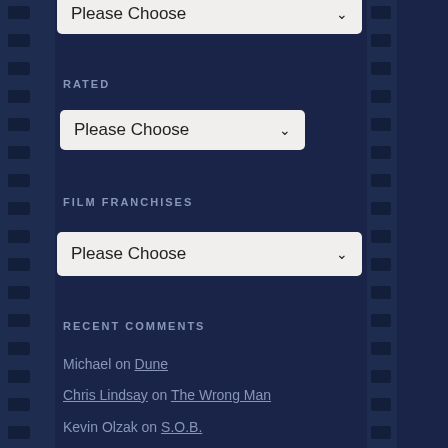[Figure (screenshot): Top dropdown widget showing 'Please Choose' with down arrow, partially visible at top of page]
RATED
[Figure (screenshot): Dropdown widget showing 'Please Choose' with down arrow]
FILM FRANCHISES
[Figure (screenshot): Dropdown widget showing 'Please Choose' with down arrow]
RECENT COMMENTS
Michael on Dune
Chris Lindsay on The Wrong Man
Kevin Olzak on S.O.B.